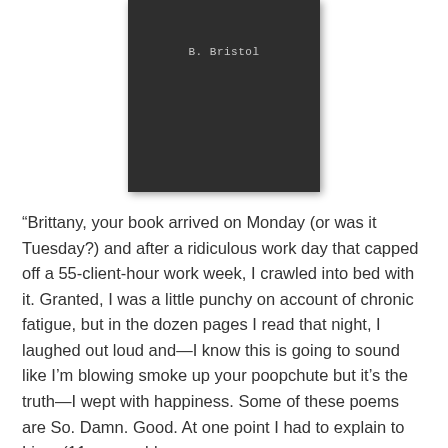[Figure (illustration): Dark charcoal/dark gray book cover with the author name 'B. Bristol' in light gray monospace text near the top]
“Brittany, your book arrived on Monday (or was it Tuesday?) and after a ridiculous work day that capped off a 55-client-hour work week, I crawled into bed with it. Granted, I was a little punchy on account of chronic fatigue, but in the dozen pages I read that night, I laughed out loud and—I know this is going to sound like I’m blowing smoke up your poopchute but it’s the truth—I wept with happiness. Some of these poems are So. Damn. Good. At one point I had to explain to Liam (11 years old,